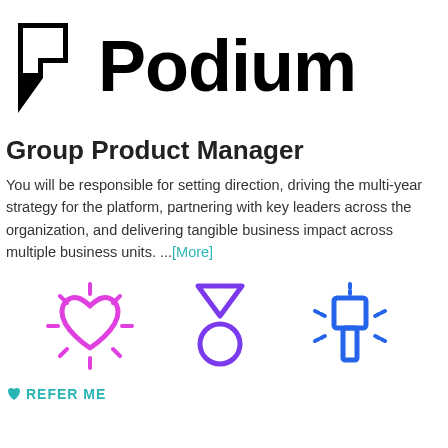[Figure (logo): Podium logo: black geometric P-like shape icon followed by bold black text 'Podium']
Group Product Manager
You will be responsible for setting direction, driving the multi-year strategy for the platform, partnering with key leaders across the organization, and delivering tangible business impact across multiple business units. ...[More]
[Figure (illustration): Three icons: a pink/magenta outlined heart with sparkle rays, a purple medal/ribbon icon, and a blue highlighted marker/flashlight icon with dashed rays]
REFER ME